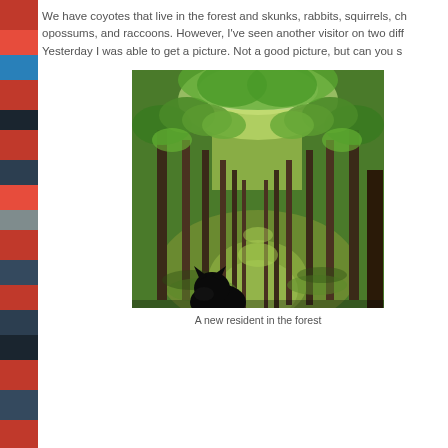We have coyotes that live in the forest and skunks, rabbits, squirrels, ch opossums, and raccoons. However, I've seen another visitor on two diff Yesterday I was able to get a picture. Not a good picture, but can you s
[Figure (photo): A forest path lined with tall trees with bright green foliage. The path is covered with green moss/grass. In the foreground, a dark-colored dog (appears to be a German Shepherd or similar breed) is looking down the path.]
A new resident in the forest